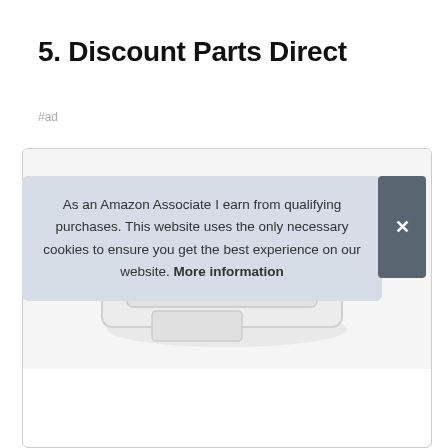5. Discount Parts Direct
#ad
[Figure (photo): A white rectangular plastic vent or access panel component, photographed at an angle against a light background.]
As an Amazon Associate I earn from qualifying purchases. This website uses the only necessary cookies to ensure you get the best experience on our website. More information